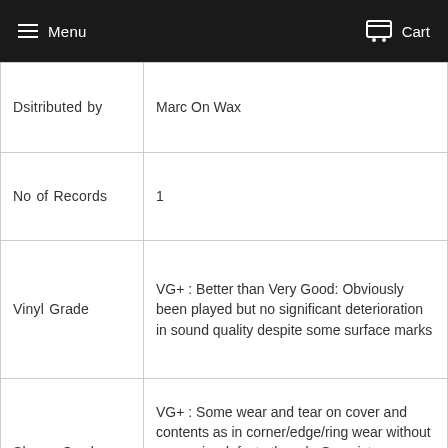Menu  Cart
| Dsitributed by | Marc On Wax |
| No of Records | 1 |
| Vinyl Grade | VG+ : Better than Very Good: Obviously been played but no significant deterioration in sound quality despite some surface marks |
| Sleeve Grade | VG+ : Some wear and tear on cover and contents as in corner/edge/ring wear without any major defects though. See pictures attached to this listing for a more in-depth analysis |